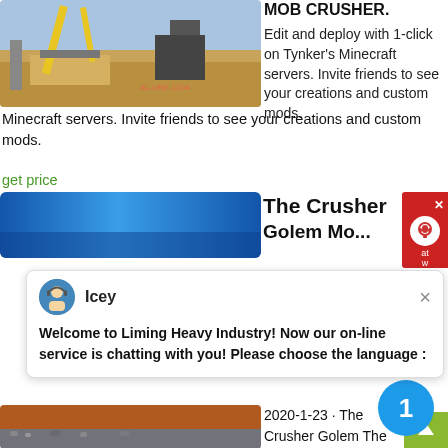[Figure (photo): Construction site / quarry machinery photo at top left]
MOB CRUSHER. Edit and deploy with 1-click on Tynker's Minecraft servers. Invite friends to see your creations and custom mods.
get price
[Figure (photo): Blue banner image]
The Crusher Golem...
[Figure (screenshot): Chat popup from Icey: Welcome to Liming Heavy Industry! Now our on-line service is chatting with you! Please choose the language:]
[Figure (photo): Crushed gravel/aggregate on ground photo]
2020-1-23 · The Crusher Golem The Crusher ... is a mob you build similarly to an Iron or Snow Golem. To make it you put down a Slime Block, a Sticky Piston facing downwards, an Anvil on top and any Button on the side of the Sticky Piston . To activate the Crusher Golem, just press the Button and the Crusher Golem will jump into the air and come alive.